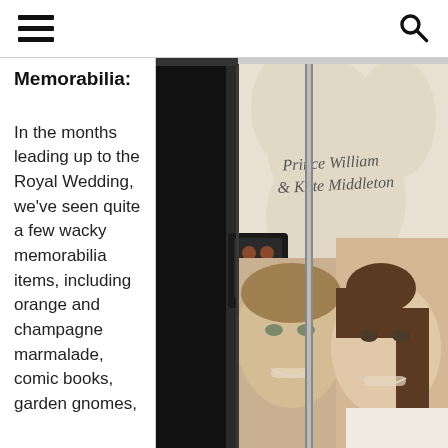Memorabilia:
In the months leading up to the Royal Wedding, we've seen quite a few wacky memorabilia items, including orange and champagne marmalade, comic books, garden gnomes,
[Figure (photo): A refrigerator with a Royal Wedding themed wrap featuring a photo of Prince William and Kate Middleton with cursive text reading 'Prince William & Kate Middleton']